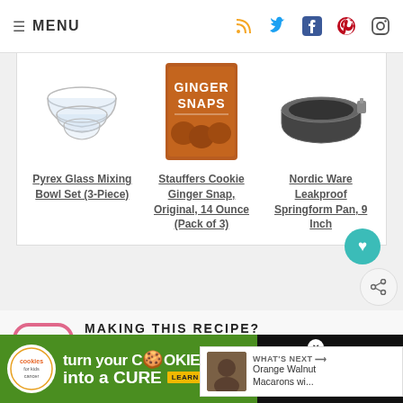MENU
[Figure (photo): Pyrex Glass Mixing Bowl Set (3-Piece) product image]
Pyrex Glass Mixing Bowl Set (3-Piece)
[Figure (photo): Stauffers Cookie Ginger Snap, Original, 14 Ounce (Pack of 3) product image]
Stauffers Cookie Ginger Snap, Original, 14 Ounce (Pack of 3)
[Figure (photo): Nordic Ware Leakproof Springform Pan, 9 Inch product image]
Nordic Ware Leakproof Springform Pan, 9 Inch
MAKING THIS RECIPE?
Share it with us on Instagram using #aclassictwist so we can see what you are baking up in your kitchen!
[Figure (other): Cookies for Kids Cancer advertisement banner - turn your cookies into a cure]